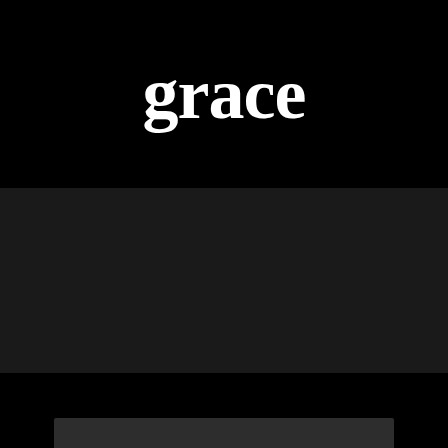grace
[Figure (photo): Dark/black background with a dark gray rectangular region in the middle section of the page, and a dark band at the bottom with a slightly lighter gray rectangle]